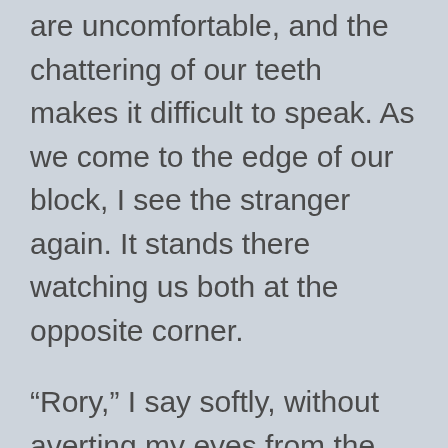are uncomfortable, and the chattering of our teeth makes it difficult to speak. As we come to the edge of our block, I see the stranger again. It stands there watching us both at the opposite corner.
“Rory,” I say softly, without averting my eyes from the figure up ahead. I stop and point. “Do you see that person standing there?”
She looks in my direction, but before she says a word, the image flashes out of sight like a bolt of lightning. “Please tell me you saw that, too?” I say, feeling a little overwhelmed that someone can move that fast.